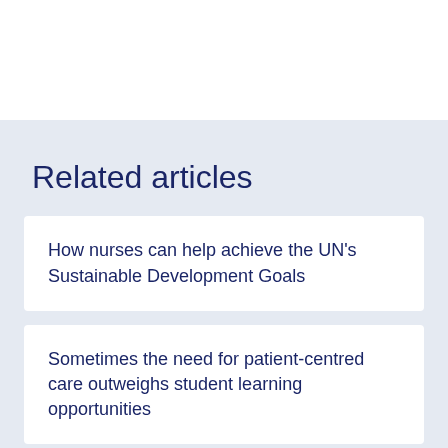Related articles
How nurses can help achieve the UN's Sustainable Development Goals
Sometimes the need for patient-centred care outweighs student learning opportunities